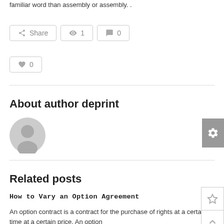familiar word than assembly or assembly. .
[Figure (screenshot): Social sharing buttons row: Share button, view count (1), comment count (0)]
[Figure (screenshot): Like/heart button with count 0]
About author deprint
[Figure (illustration): Default grey user avatar circle icon]
Related posts
How to Vary an Option Agreement
An option contract is a contract for the purchase of rights at a certain time at a certain price. An option